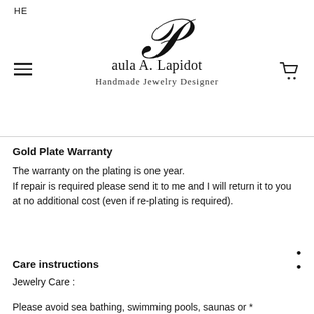HE
[Figure (logo): Paula A. Lapidot Handmade Jewelry Designer logo with decorative script P]
Gold Plate Warranty
The warranty on the plating is one year. If repair is required please send it to me and I will return it to you at no additional cost (even if re-plating is required).
Care instructions
Jewelry Care :
Please avoid sea bathing, swimming pools, saunas or *